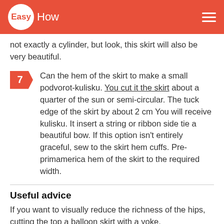EasyHow
not exactly a cylinder, but look, this skirt will also be very beautiful.
7. Can the hem of the skirt to make a small podvorot-kulisku. You cut it the skirt about a quarter of the sun or semi-circular. The tuck edge of the skirt by about 2 cm You will receive kulisku. It insert a string or ribbon side tie a beautiful bow. If this option isn't entirely graceful, sew to the skirt hem cuffs. Pre-primamerica hem of the skirt to the required width.
Useful advice
If you want to visually reduce the richness of the hips, cutting the top a balloon skirt with a yoke.